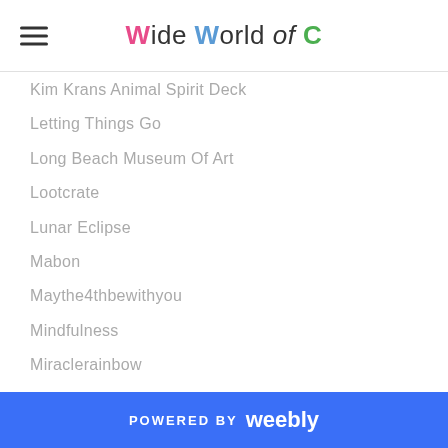Wide World of C
Kim Krans Animal Spirit Deck
Letting Things Go
Long Beach Museum Of Art
Lootcrate
Lunar Eclipse
Mabon
Maythe4thbewithyou
Mindfulness
Miraclerainbow
Monthly Books Read
Neil Gaiman
Ostara
Pacific Crest Trail
Paint By Numbers
PCT
Photo A Day
POWERED BY weebly